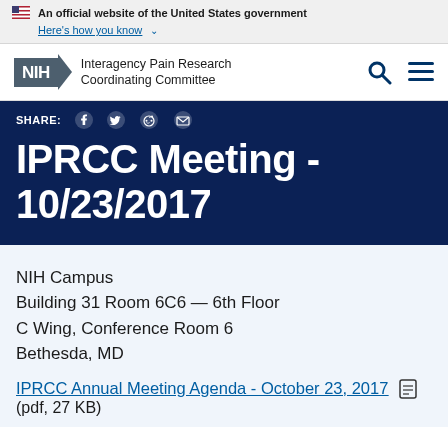An official website of the United States government Here's how you know
[Figure (logo): NIH Interagency Pain Research Coordinating Committee logo with search and menu icons]
IPRCC Meeting - 10/23/2017
NIH Campus
Building 31 Room 6C6 — 6th Floor
C Wing, Conference Room 6
Bethesda, MD
IPRCC Annual Meeting Agenda - October 23, 2017
(pdf, 27 KB)